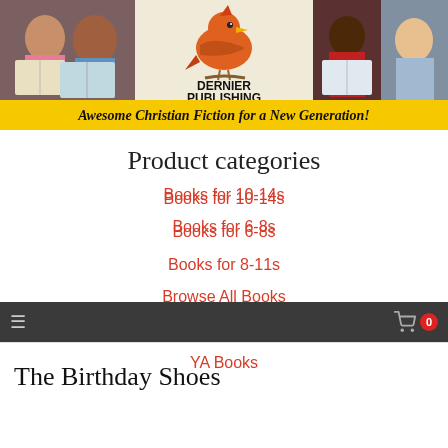[Figure (illustration): Dernier Publishing banner with children reading books on left and right sides, a cartoon cardinal bird logo in the center, and 'DERNIER PUBLISHING' text. Yellow banner at bottom reads 'Awesome Christian Fiction for a New Generation!']
Product categories
Books for 10-14s
Books for 6-8s
Books for 8-11s
Browse All Books
Coming Soon
YA Books
≡  🛒 0
The Birthday Shoes